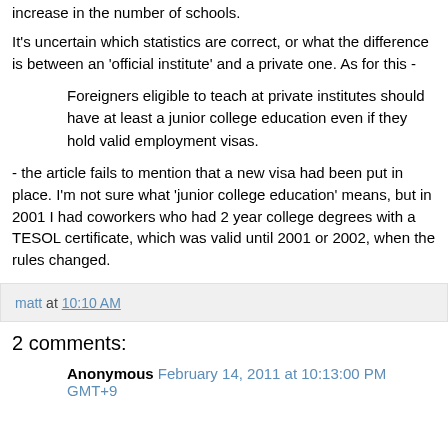increase in the number of schools.
It's uncertain which statistics are correct, or what the difference is between an 'official institute' and a private one. As for this -
Foreigners eligible to teach at private institutes should have at least a junior college education even if they hold valid employment visas.
- the article fails to mention that a new visa had been put in place. I'm not sure what 'junior college education' means, but in 2001 I had coworkers who had 2 year college degrees with a TESOL certificate, which was valid until 2001 or 2002, when the rules changed.
matt at 10:10 AM
2 comments:
Anonymous February 14, 2011 at 10:13:00 PM GMT+9